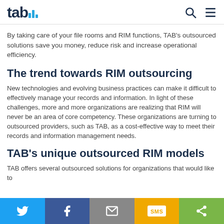TAB logo with navigation icons
By taking care of your file rooms and RIM functions, TAB's outsourced solutions save you money, reduce risk and increase operational efficiency.
The trend towards RIM outsourcing
New technologies and evolving business practices can make it difficult to effectively manage your records and information. In light of these challenges, more and more organizations are realizing that RIM will never be an area of core competency. These organizations are turning to outsourced providers, such as TAB, as a cost-effective way to meet their records and information management needs.
TAB's unique outsourced RIM models
TAB offers several outsourced solutions for organizations that would like to
Share bar: Twitter, Facebook, Email, SMS, More